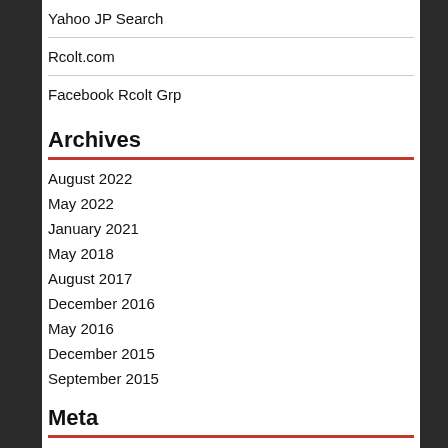Yahoo JP Search
Rcolt.com
Facebook Rcolt Grp
Archives
August 2022
May 2022
January 2021
May 2018
August 2017
December 2016
May 2016
December 2015
September 2015
Meta
Log in